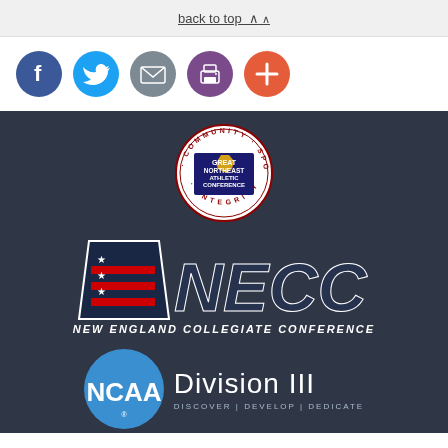back to top ∧
[Figure (infographic): Social sharing icons: Facebook (blue), Twitter (light blue), Email (grey), Print (purple), Add/Plus (orange-red) — circular icon buttons]
[Figure (logo): GNAC — Great Northeast Athletic Conference circular badge logo with text 'Community · Sportsmanship · Integrity' around the ring and the state of Maine in gold in the center]
[Figure (logo): NECC — New England Collegiate Conference logo: bold navy and white italicized letters with a stylized A star-and-stripes chevron mark, subtitle 'NEW ENGLAND COLLEGIATE CONFERENCE']
[Figure (logo): NCAA Division III logo: blue circle with NCAA letters in white, 'Division III' text to the right, tagline 'DISCOVER | DEVELOP | DEDICATE' below]